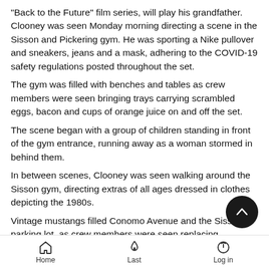“Back to the Future” film series, will play his grandfather. Clooney was seen Monday morning directing a scene in the Sisson and Pickering gym. He was sporting a Nike pullover and sneakers, jeans and a mask, adhering to the COVID-19 safety regulations posted throughout the set.
The gym was filled with benches and tables as crew members were seen bringing trays carrying scrambled eggs, bacon and cups of orange juice on and off the set.
The scene began with a group of children standing in front of the gym entrance, running away as a woman stormed in behind them.
In between scenes, Clooney was seen walking around the Sisson gym, directing extras of all ages dressed in clothes depicting the 1980s.
Vintage mustangs filled Conomo Avenue and the Sisson parking lot, as crew members were seen replacing Massachusetts license plates with those from New York.
The movie was filmed indoors and outdoors, where a makeshift
Home   Last   Log in